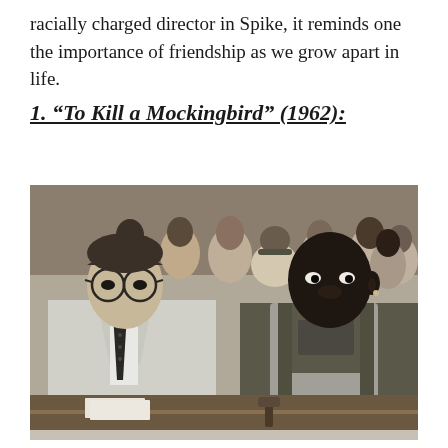racially charged director in Spike, it reminds one the importance of friendship as we grow apart in life.
1. “To Kill a Mockingbird” (1962):
[Figure (photo): Black and white still from the 1962 film 'To Kill a Mockingbird' showing two men seated at what appears to be a courtroom table. On the left is a white man in a light suit with glasses and a dark tie, and on the right is a Black man in overalls. A crowd of people is visible in the background.]